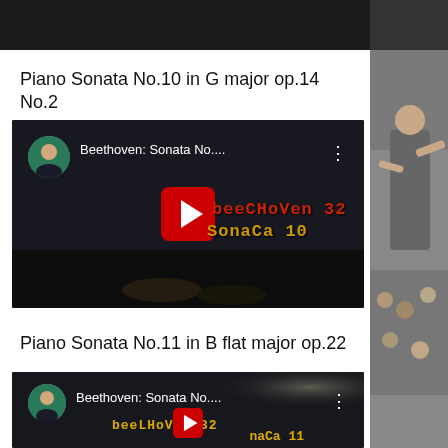[Figure (screenshot): Top dark strip from previous video thumbnail]
Piano Sonata No.10 in G major op.14 No.2
[Figure (screenshot): YouTube video thumbnail for Beethoven Sonata No.10 - shows pianist avatar, title 'Beethoven: Sonata No....', YouTube play button, and text 'beethoven 32 sonata 10' on dark background]
Piano Sonata No.11 in B flat major op.22
[Figure (screenshot): YouTube video thumbnail for Beethoven Sonata No.11 - partially visible at bottom, shows avatar, title 'Beethoven: Sonata No....', and text 'beethoven 32 nata 11']